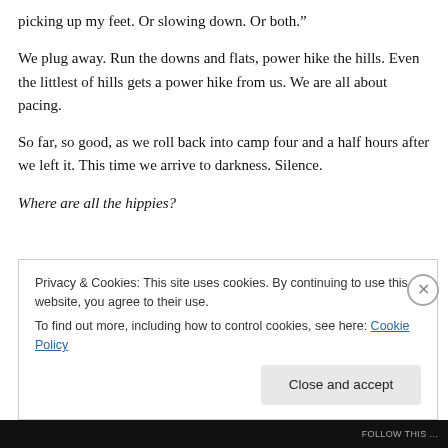picking up my feet. Or slowing down. Or both.”
We plug away. Run the downs and flats, power hike the hills. Even the littlest of hills gets a power hike from us. We are all about pacing.
So far, so good, as we roll back into camp four and a half hours after we left it. This time we arrive to darkness. Silence.
Where are all the hippies?
Privacy & Cookies: This site uses cookies. By continuing to use this website, you agree to their use.
To find out more, including how to control cookies, see here: Cookie Policy
Close and accept